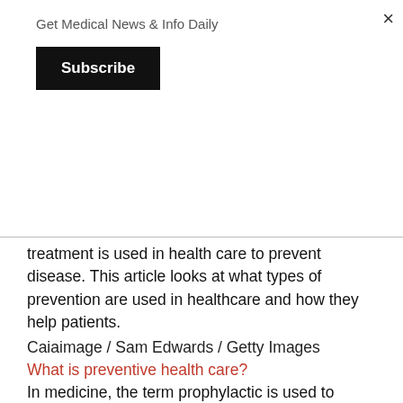Get Medical News & Info Daily
Subscribe
treatment is used in health care to prevent disease. This article looks at what types of prevention are used in healthcare and how they help patients.
Caiaimage / Sam Edwards / Getty Images
What is preventive health care?
In medicine, the term prophylactic is used to describe procedures and treatments that prevent something. This can include surgery, tooth brushing , vaccinations, and birth control .
For example, a preventive hepatitis vaccine prevents a patient from getting hepatitis. Preventive dental cleaning prevents cavities.
Prevention is good in health care. This avoids the problem by solving a potential problem before it actually becomes